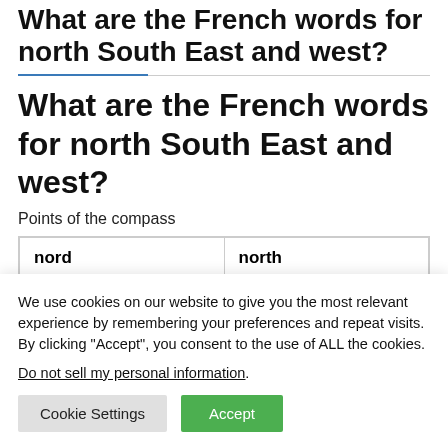What are the French words for north South East and west?
What are the French words for north South East and west?
Points of the compass
| nord | north |
| --- | --- |
We use cookies on our website to give you the most relevant experience by remembering your preferences and repeat visits. By clicking “Accept”, you consent to the use of ALL the cookies.
Do not sell my personal information.